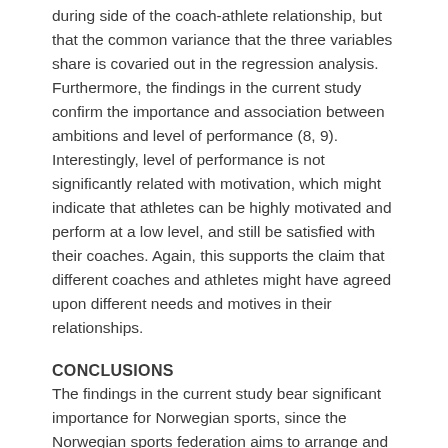during side of the coach-athlete relationship, but that the common variance that the three variables share is covaried out in the regression analysis. Furthermore, the findings in the current study confirm the importance and association between ambitions and level of performance (8, 9). Interestingly, level of performance is not significantly related with motivation, which might indicate that athletes can be highly motivated and perform at a low level, and still be satisfied with their coaches. Again, this supports the claim that different coaches and athletes might have agreed upon different needs and motives in their relationships.
CONCLUSIONS
The findings in the current study bear significant importance for Norwegian sports, since the Norwegian sports federation aims to arrange and facilitate sports for everyone, regardless of ambitions and performance level. This is supported by the findings which indicate that swimmers are satisfied with the helping relationship that is established between themselves and their coaches, regardless of ambitions and performance level. It is